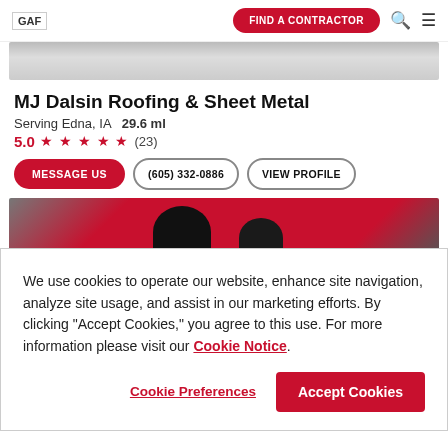GAF | FIND A CONTRACTOR
MJ Dalsin Roofing & Sheet Metal
Serving Edna, IA   29.6 ml
5.0 ★★★★★ (23)
MESSAGE US | (605) 332-0886 | VIEW PROFILE
[Figure (photo): Gray/silver metallic roof image strip]
[Figure (photo): Red background with dark figure silhouette]
We use cookies to operate our website, enhance site navigation, analyze site usage, and assist in our marketing efforts. By clicking "Accept Cookies," you agree to this use. For more information please visit our Cookie Notice.
Cookie Preferences | Accept Cookies